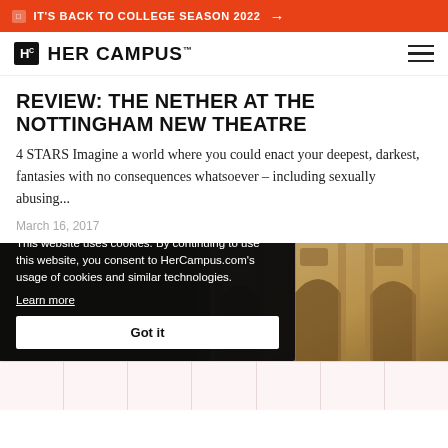IT'S BACK TO COLLEGE SEASON 2022 →
HER CAMPUS
REVIEW: THE NETHER AT THE NOTTINGHAM NEW THEATRE
4 STARS Imagine a world where you could enact your deepest, darkest, fantasies with no consequences whatsoever – including sexually abusing...
March 16, 2017
[Figure (photo): Architectural photo of ornate building with arched windows and columns, warm golden tones]
This website uses cookies. By continuing to use this website, you consent to HerCampus.com's usage of cookies and similar technologies. Learn more  Got it